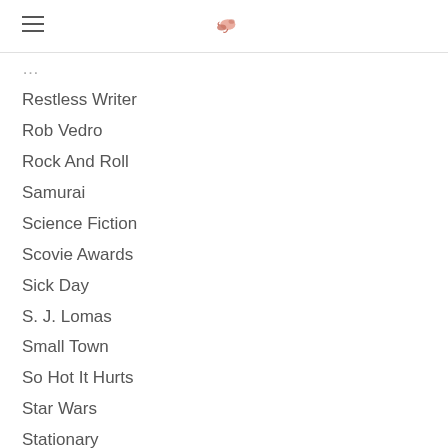[hamburger menu] [logo icon]
Restless Writer
Rob Vedro
Rock And Roll
Samurai
Science Fiction
Scovie Awards
Sick Day
S. J. Lomas
Small Town
So Hot It Hurts
Star Wars
Stationary
Storefront Gallery
Suspense
Tardis
The 24th Letter
The Artist And The Chef
The Cinderella Complex